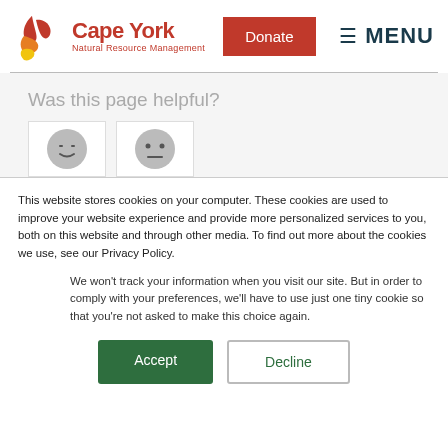[Figure (logo): Cape York Natural Resource Management logo with stylized leaf/flame graphic in red, orange, yellow]
Donate
MENU
Was this page helpful?
[Figure (illustration): Two emoji face buttons in white boxes — one smiling, one neutral/sad]
This website stores cookies on your computer. These cookies are used to improve your website experience and provide more personalized services to you, both on this website and through other media. To find out more about the cookies we use, see our Privacy Policy.
We won't track your information when you visit our site. But in order to comply with your preferences, we'll have to use just one tiny cookie so that you're not asked to make this choice again.
Accept
Decline